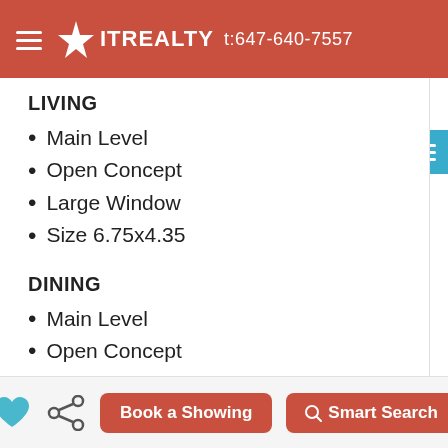IT REALTY t:647-640-7557
LIVING
Main Level
Open Concept
Large Window
Size 6.75x4.35
DINING
Main Level
Open Concept
Large Window
Size 6.75x4.35
KITCHEN
Main Level
Book a Showing   Smart Search